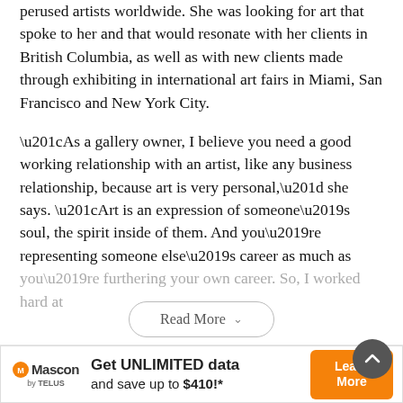perused artists worldwide. She was looking for art that spoke to her and that would resonate with her clients in British Columbia, as well as with new clients made through exhibiting in international art fairs in Miami, San Francisco and New York City.

“As a gallery owner, I believe you need a good working relationship with an artist, like any business relationship, because art is very personal,” she says. “Art is an expression of someone’s soul, the spirit inside of them. And you’re representing someone else’s career as much as you’re furthering your own career. So, I worked hard at
Read More
Previous story
Next story
[Figure (other): Advertisement banner for Mascon by TELUS: 'Get UNLIMITED data and save up to $410!*' with Learn More button]